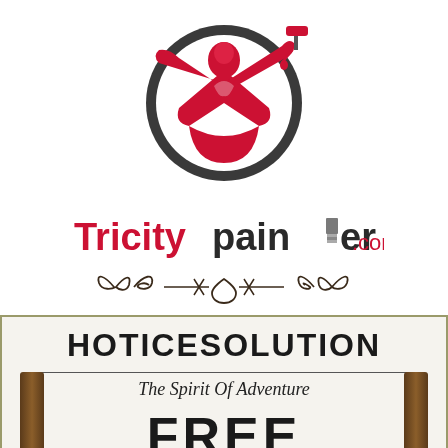[Figure (logo): Tricity Painter logo: a stylized red figure holding a paint roller inside a dark circular ring, above a red and dark paint brush icon, with text 'Tricitypainter.com' where 'Tricity' is in red and 'painter' in dark gray, '.com' in smaller red text]
[Figure (illustration): Decorative ornamental divider with scroll and floral motifs in dark brown/black]
[Figure (other): A sign or card with off-white/cream background and olive/gold border, showing 'HOTICESOLUTION' in large bold capital letters, a horizontal rule, 'The Spirit Of Adventure' in italic serif font, and 'FREE' partially visible at bottom, with wooden post brackets on left and right sides]